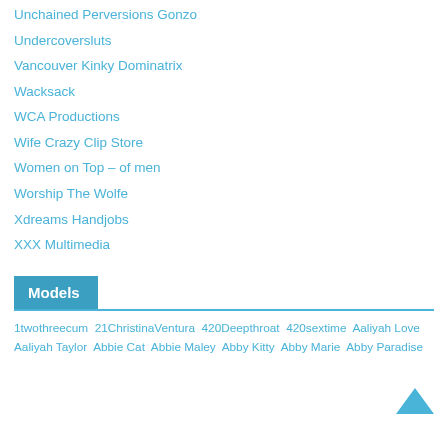Unchained Perversions Gonzo
Undercoversluts
Vancouver Kinky Dominatrix
Wacksack
WCA Productions
Wife Crazy Clip Store
Women on Top – of men
Worship The Wolfe
Xdreams Handjobs
XXX Multimedia
Models
1twothreecum 21ChristinaVentura 420Deepthroat 420sextime Aaliyah Love Aaliyah Taylor Abbie Cat Abbie Maley Abby Kitty Abby Marie Abby Paradise